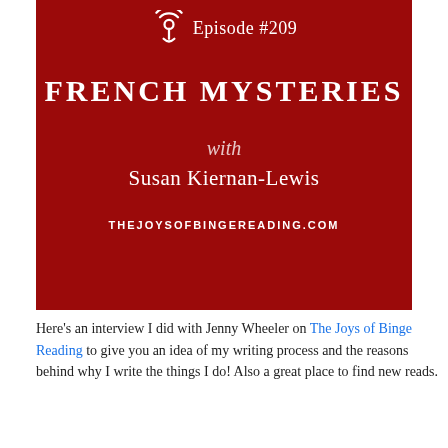[Figure (illustration): Podcast episode cover image on dark red background. Shows a podcast microphone icon at top, 'Episode #209' text, large text 'FRENCH MYSTERIES', italic 'with', 'Susan Kiernan-Lewis', and website 'THEJOYSOFBINGEREADING.COM']
Here's an interview I did with Jenny Wheeler on The Joys of Binge Reading to give you an idea of my writing process and the reasons behind why I write the things I do! Also a great place to find new reads.